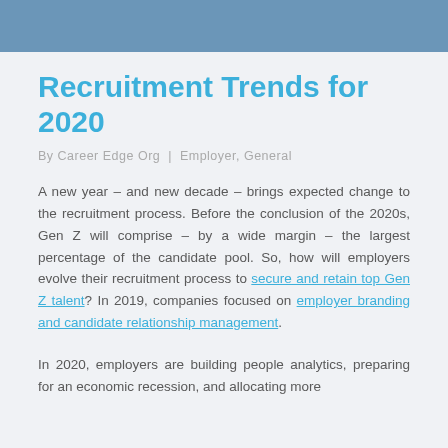Recruitment Trends for 2020
By Career Edge Org | Employer, General
A new year – and new decade – brings expected change to the recruitment process. Before the conclusion of the 2020s, Gen Z will comprise – by a wide margin – the largest percentage of the candidate pool. So, how will employers evolve their recruitment process to secure and retain top Gen Z talent? In 2019, companies focused on employer branding and candidate relationship management.
In 2020, employers are building people analytics, preparing for an economic recession, and allocating more